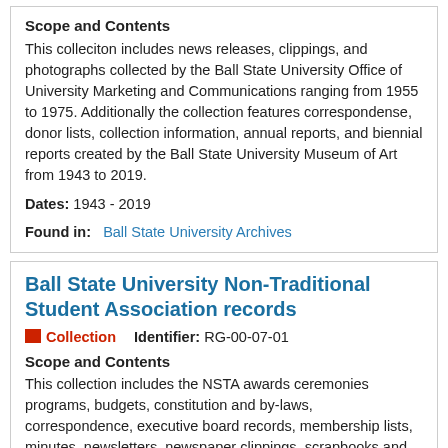Scope and Contents
This colleciton includes news releases, clippings, and photographs collected by the Ball State University Office of University Marketing and Communications ranging from 1955 to 1975. Additionally the collection features correspondense, donor lists, collection information, annual reports, and biennial reports created by the Ball State University Museum of Art from 1943 to 2019.
Dates: 1943 - 2019
Found in: Ball State University Archives
Ball State University Non-Traditional Student Association records
Collection   Identifier: RG-00-07-01
Scope and Contents
This collection includes the NSTA awards ceremonies programs, budgets, constitution and by-laws, correspondence, executive board records, membership lists, minutes, newsletters, newspaper clippings, scrapbooks and reports ranging from 1977